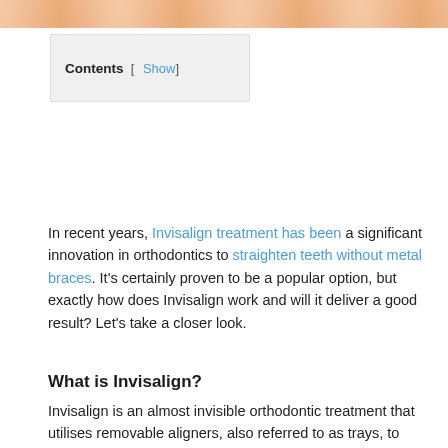[Figure (photo): Partial view of a person's face/smile related to dental/orthodontic treatment]
Contents  [ Show ]
In recent years, Invisalign treatment has been a significant innovation in orthodontics to straighten teeth without metal braces. It's certainly proven to be a popular option, but exactly how does Invisalign work and will it deliver a good result? Let's take a closer look.
What is Invisalign?
Invisalign is an almost invisible orthodontic treatment that utilises removable aligners, also referred to as trays, to straighten teeth. Patients wear a series of clear plastic